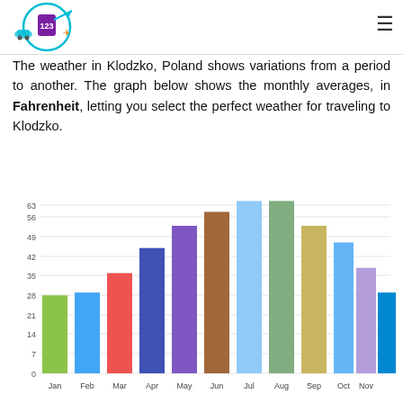123 travel logo and navigation
The weather in Klodzko, Poland shows variations from a period to another. The graph below shows the monthly averages, in Fahrenheit, letting you select the perfect weather for traveling to Klodzko.
[Figure (bar-chart): Monthly average temperature in Fahrenheit - Klodzko, Poland]